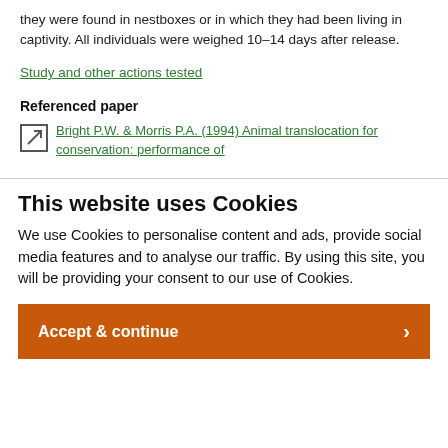they were found in nestboxes or in which they had been living in captivity. All individuals were weighed 10–14 days after release.
Study and other actions tested
Referenced paper
Bright P.W. & Morris P.A. (1994) Animal translocation for conservation: performance of
This website uses Cookies
We use Cookies to personalise content and ads, provide social media features and to analyse our traffic. By using this site, you will be providing your consent to our use of Cookies.
Accept & continue